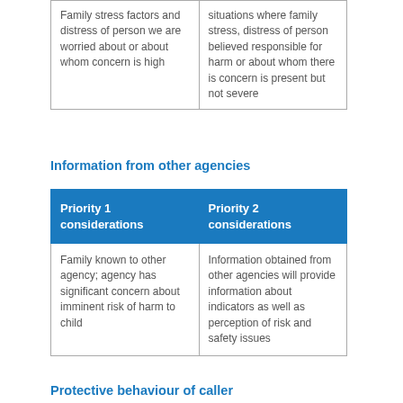| Family stress factors and distress of person we are worried about or about whom concern is high | situations where family stress, distress of person believed responsible for harm or about whom there is concern is present but not severe |
Information from other agencies
| Priority 1 considerations | Priority 2 considerations |
| --- | --- |
| Family known to other agency; agency has significant concern about imminent risk of harm to child | Information obtained from other agencies will provide information about indicators as well as perception of risk and safety issues |
Protective behaviour of caller